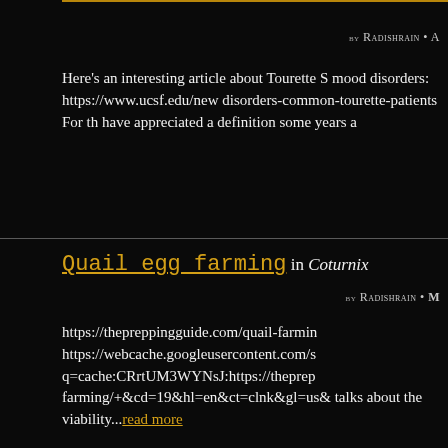Here's an interesting article about Tourette S mood disorders: https://www.ucsf.edu/new disorders-common-tourette-patients For th have appreciated a definition some years a
Quail egg farming in Coturnix
BY RADISHRAIN • M
https://thepreppingguide.com/quail-farmin https://webcache.googleusercontent.com/s q=cache:CRrtUM3WYNsJ:https://theprep farming/+&cd=19&hl=en&ct=clnk&gl=us& talks about the viability...read more
Donkey milk and PANDAS in Domes
BY RADISHRAIN • N
Here's an article about a family who runs a d family believes it cures and/or treats PAND https://okcfox.com/news/local/donkey-milk that it contains live cells from the donkey, w system...read more